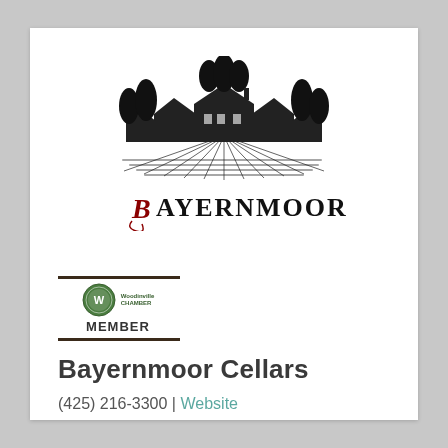[Figure (logo): Bayernmoor winery logo: black and white illustration of a vineyard estate with trees and grape rows, with 'BAYERNMOOR' text below in serif font where the B is styled in red cursive script]
[Figure (logo): Woodinville Chamber of Commerce Member badge — small circular green logo with 'Woodinville CHAMBER' text and 'MEMBER' in bold black below, framed by dark horizontal bars]
Bayernmoor Cellars
(425) 216-3300 | Website